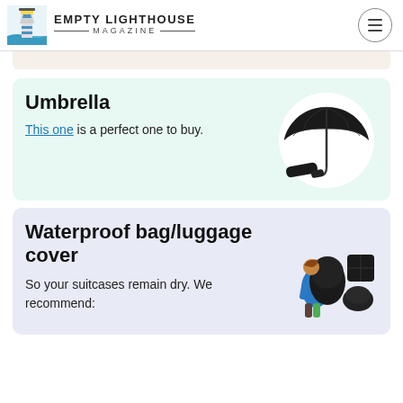EMPTY LIGHTHOUSE MAGAZINE
Umbrella
This one is a perfect one to buy.
[Figure (photo): Black folding umbrella shown open and collapsed]
Waterproof bag/luggage cover
So your suitcases remain dry. We recommend:
[Figure (photo): Person wearing a blue jacket with a large backpack covered in a black waterproof cover, plus individual luggage cover accessories]